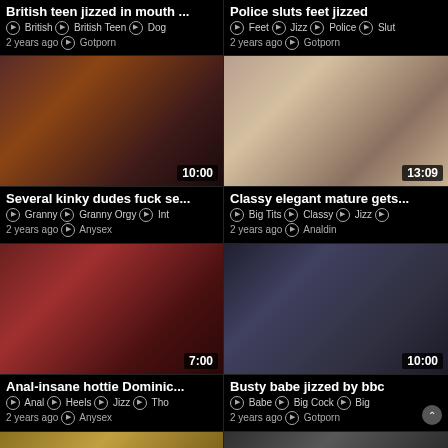British teen jizzed in mouth ...
Police sluts feet jizzed
British  British Teen  Dog
Feet  Jizz  Police  Slut
2 years ago  Gotporn
2 years ago  Gotporn
[Figure (photo): Video thumbnail, duration 10:00]
[Figure (photo): Video thumbnail, duration 13:09]
Several kinky dudes fuck se...
Classy elegant mature gets...
Granny  Granny Orgy  Int
Big Tits  Classy  Jizz
2 years ago  Anysex
2 years ago  Analdin
[Figure (photo): Video thumbnail, duration 7:00]
[Figure (photo): Video thumbnail, duration 10:00]
Anal-insane hottie Dominic...
Busty babe jizzed by bbc
Anal  Heels  Jizz  Tho
Babe  Big Cock  Big
2 years ago  Anysex
2 years ago  Gotporn
[Figure (photo): Video thumbnail, duration 29:29]
[Figure (photo): Video thumbnail, duration 10:00]